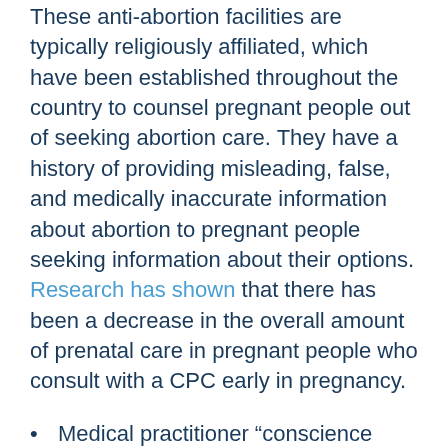These anti-abortion facilities are typically religiously affiliated, which have been established throughout the country to counsel pregnant people out of seeking abortion care. They have a history of providing misleading, false, and medically inaccurate information about abortion to pregnant people seeking information about their options. Research has shown that there has been a decrease in the overall amount of prenatal care in pregnant people who consult with a CPC early in pregnancy.
Medical practitioner “conscience clause” provision included: During Conference Committee, members added a provision